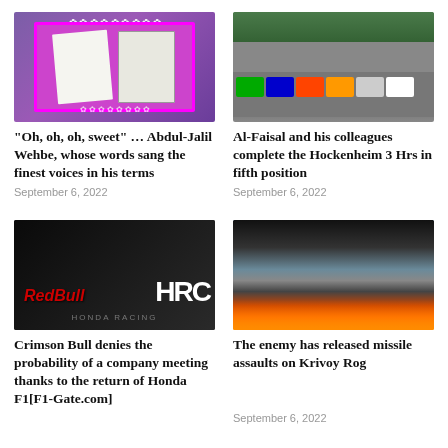[Figure (photo): Book with Arabic text on purple background with pink border and white floral decorations]
“Oh, oh, oh, sweet” … Abdul-Jalil Wehbe, whose words sang the finest voices in his terms
September 6, 2022
[Figure (photo): Racing cars on a track at Hockenheim circuit, colorful GT cars in formation]
Al-Faisal and his colleagues complete the Hockenheim 3 Hrs in fifth position
September 6, 2022
[Figure (photo): Red Bull Racing Honda F1 car close-up showing HRC Honda Racing branding]
Crimson Bull denies the probability of a company meeting thanks to the return of Honda F1[F1-Gate.com]
[Figure (photo): Large fire with black smoke billowing above industrial tanks or buildings]
The enemy has released missile assaults on Krivoy Rog
September 6, 2022